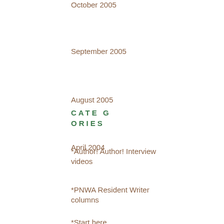October 2005
September 2005
August 2005
April 2004
CATEGORIES
*Author! Author! Interview videos
*PNWA Resident Writer columns
*Start here